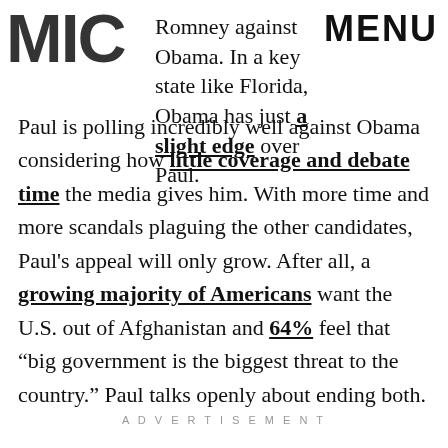MIC | MENU
Romney against Obama. In a key state like Florida, Obama has just a slight edge over Paul.
Paul is polling incredibly well against Obama considering how little coverage and debate time the media gives him. With more time and more scandals plaguing the other candidates, Paul's appeal will only grow. After all, a growing majority of Americans want the U.S. out of Afghanistan and 64% feel that “big government is the biggest threat to the country.” Paul talks openly about ending both.
ADVERTISEMENT